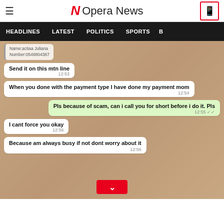Opera News
[Figure (screenshot): WhatsApp chat screenshot showing messages: Name:actiaa Juliana Number:0549804367 / Send it on this mtn line 12:53 / When you done with the payment type I have done my payment mom 12:54 / Pls because of scam, can i call you for short before i do it. Pls 12:55 / I cant force you okay 12:56 / Because am always busy if not dont worry about it 12:56. Red scroll-down button at bottom.]